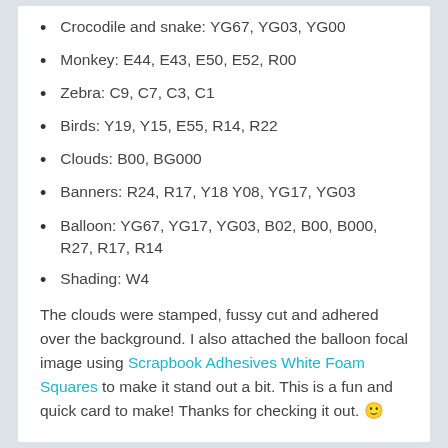Crocodile and snake: YG67, YG03, YG00
Monkey: E44, E43, E50, E52, R00
Zebra: C9, C7, C3, C1
Birds: Y19, Y15, E55, R14, R22
Clouds: B00, BG000
Banners: R24, R17, Y18 Y08, YG17, YG03
Balloon: YG67, YG17, YG03, B02, B00, B000, R27, R17, R14
Shading: W4
The clouds were stamped, fussy cut and adhered over the background. I also attached the balloon focal image using Scrapbook Adhesives White Foam Squares to make it stand out a bit. This is a fun and quick card to make! Thanks for checking it out. 🙂